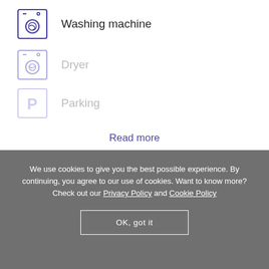Washing machine
Dryer
Parking
Read more
Dream destinations
Greece
We use cookies to give you the best possible experience. By continuing, you agree to our use of cookies. Want to know more? Check out our Privacy Policy and Cookie Policy
OK, got it